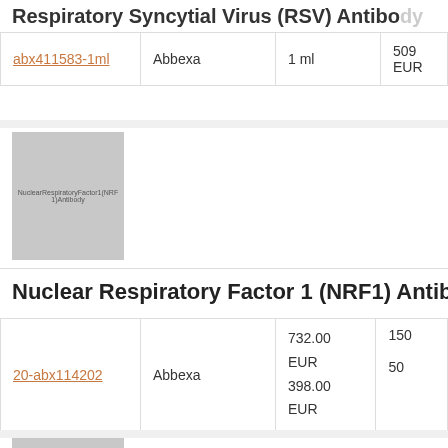Respiratory Syncytial Virus (RSV) Antibody
| Product ID | Supplier | Volume | Price |
| --- | --- | --- | --- |
| abx411583-1ml | Abbexa | 1 ml | 509 EUR |
[Figure (photo): Product image placeholder for Nuclear Respiratory Factor 1 (NRF1) Antibody]
Nuclear Respiratory Factor 1 (NRF1) Antibo
| Product ID | Supplier | Price | Size |
| --- | --- | --- | --- |
| 20-abx114202 | Abbexa | 732.00 EUR
398.00 EUR | 150
50 |